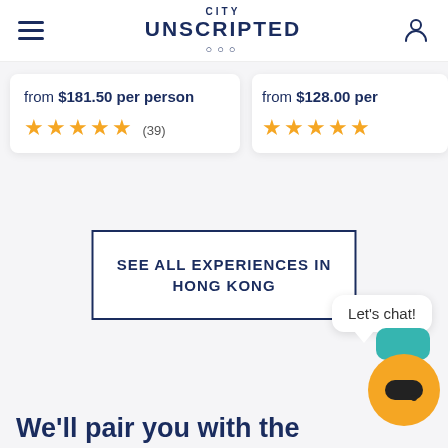CITY UNSCRIPTED
from $181.50 per person
★★★★★ (39)
from $128.00 per
★★★★★
SEE ALL EXPERIENCES IN HONG KONG
Let's chat!
We'll pair you with the